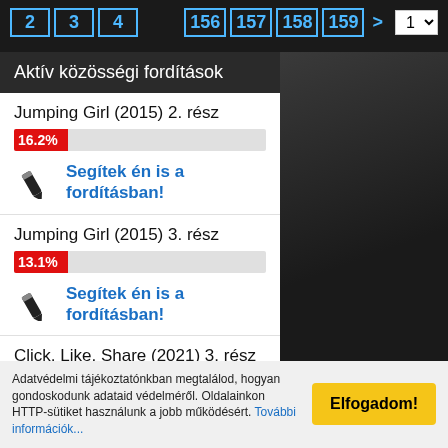2 3 4 156 157 158 159 > 1
Aktív közösségi fordítások
Jumping Girl (2015) 2. rész — 16.2% — Segítek én is a fordításban!
Jumping Girl (2015) 3. rész — 13.1% — Segítek én is a fordításban!
Click, Like, Share (2021) 3. rész — 12.6% — Segítek én is a fordításban!
Adatvédelmi tájékoztatónkban megtalálod, hogyan gondoskodunk adataid védelméről. Oldalainkon HTTP-sütiket használunk a jobb működésért. További információk...